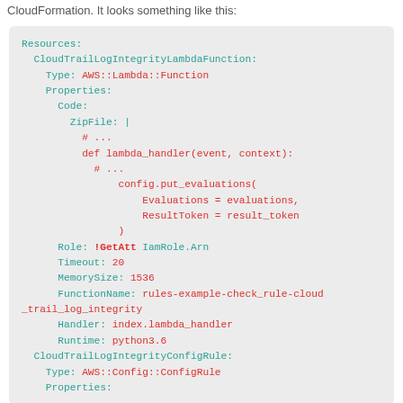CloudFormation. It looks something like this:
[Figure (screenshot): Code block showing AWS CloudFormation YAML snippet with Resources section defining CloudTrailLogIntegrityLambdaFunction (Type: AWS::Lambda::Function) with Properties including Code/ZipFile with lambda_handler Python code calling config.put_evaluations, Role: !GetAtt IamRole.Arn, Timeout: 20, MemorySize: 1536, FunctionName: rules-example-check_rule-cloud_trail_log_integrity, Handler: index.lambda_handler, Runtime: python3.6, and CloudTrailLogIntegrityConfigRule (Type: AWS::Config::ConfigRule) with Properties.]